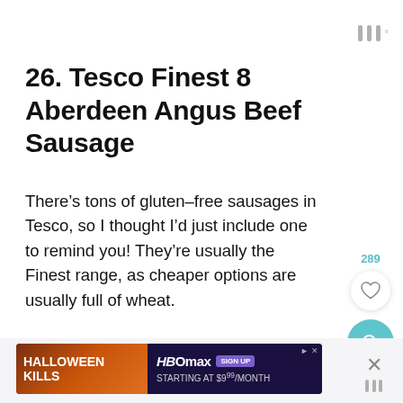26. Tesco Finest 8 Aberdeen Angus Beef Sausage
There’s tons of gluten-free sausages in Tesco, so I thought I’d just include one to remind you! They’re usually the Finest range, as cheaper options are usually full of wheat.
[Figure (screenshot): Ad banner for Halloween Kills and HBOmax with sign up prompt starting at $9.99/month]